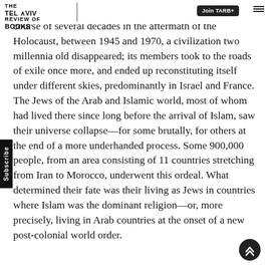THE TEL AVIV REVIEW OF BOOKS | Join TARB+
The following story has yet to be written. Over the course of several decades in the aftermath of the Holocaust, between 1945 and 1970, a civilization two millennia old disappeared; its members took to the roads of exile once more, and ended up reconstituting itself under different skies, predominantly in Israel and France. The Jews of the Arab and Islamic world, most of whom had lived there since long before the arrival of Islam, saw their universe collapse—for some brutally, for others at the end of a more underhanded process. Some 900,000 people, from an area consisting of 11 countries stretching from Iran to Morocco, underwent this ordeal. What determined their fate was their living as Jews in countries where Islam was the dominant religion—or, more precisely, living in Arab countries at the onset of a new post-colonial world order.